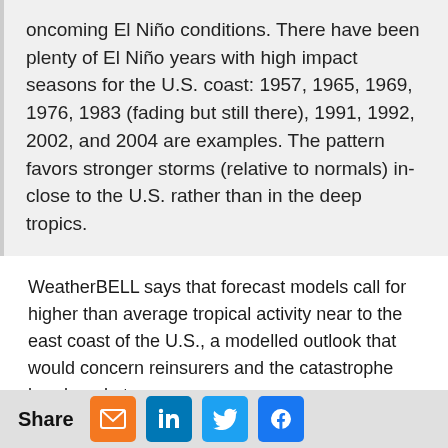oncoming El Niño conditions. There have been plenty of El Niño years with high impact seasons for the U.S. coast: 1957, 1965, 1969, 1976, 1983 (fading but still there), 1991, 1992, 2002, and 2004 are examples. The pattern favors stronger storms (relative to normals) in-close to the U.S. rather than in the deep tropics.
WeatherBELL says that forecast models call for higher than average tropical activity near to the east coast of the U.S., a modelled outlook that would concern reinsurers and the catastrophe bond market.
WeatherBELL explains:
““
Share